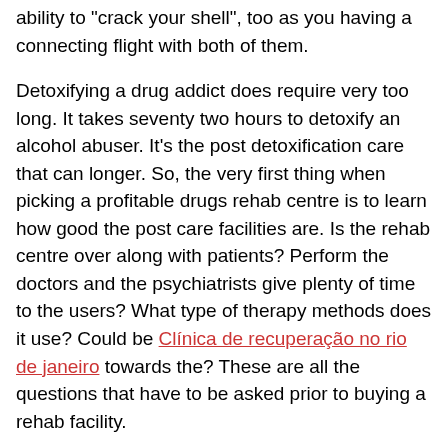ability to "crack your shell", too as you having a connecting flight with both of them.
Detoxifying a drug addict does require very too long. It takes seventy two hours to detoxify an alcohol abuser. It's the post detoxification care that can longer. So, the very first thing when picking a profitable drugs rehab centre is to learn how good the post care facilities are. Is the rehab centre over along with patients? Perform the doctors and the psychiatrists give plenty of time to the users? What type of therapy methods does it use? Could be Clínica de recuperação no rio de janeiro towards the? These are all the questions that have to be asked prior to buying a rehab facility.